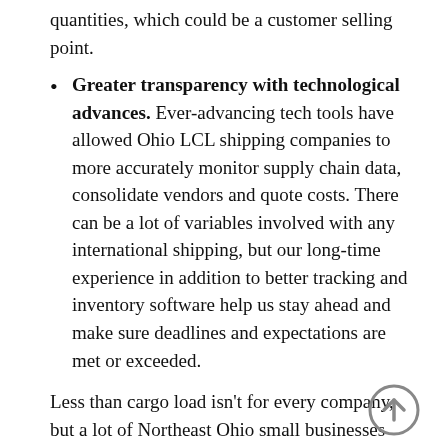quantities, which could be a customer selling point.
Greater transparency with technological advances. Ever-advancing tech tools have allowed Ohio LCL shipping companies to more accurately monitor supply chain data, consolidate vendors and quote costs. There can be a lot of variables involved with any international shipping, but our long-time experience in addition to better tracking and inventory software help us stay ahead and make sure deadlines and expectations are met or exceeded.
Less than cargo load isn't for every company, but a lot of Northeast Ohio small businesses consider it crucial to operations.